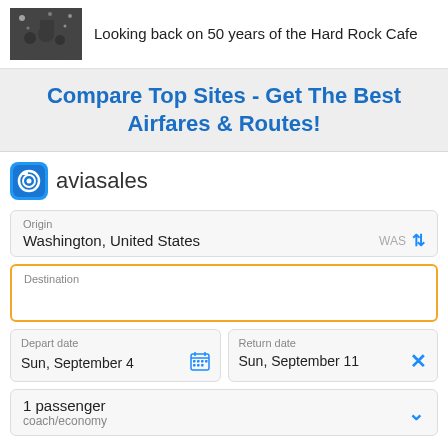[Figure (photo): Black and white photo of a crowded street/concert scene viewed from above]
Looking back on 50 years of the Hard Rock Cafe
Compare Top Sites - Get The Best Airfares & Routes!
[Figure (logo): Aviasales logo icon - blue rounded square with camera-like symbol]
aviasales
Origin
Washington, United States
WAS
Destination
Depart date
Sun, September 4
Return date
Sun, September 11
1 passenger
coach/economy